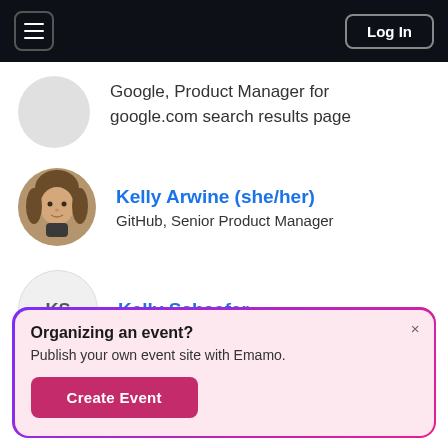Log In
Google, Product Manager for google.com search results page
Kelly Arwine (she/her)
GitHub, Senior Product Manager
Kelly Schaefer
Organizing an event?
Publish your own event site with Emamo.
Create Event